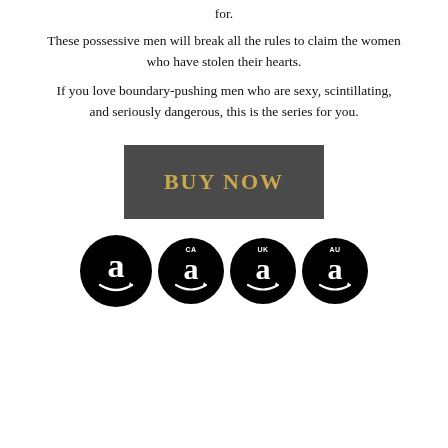for.
These possessive men will break all the rules to claim the women who have stolen their hearts.
If you love boundary-pushing men who are sexy, scintillating, and seriously dangerous, this is the series for you.
[Figure (other): Dark gray rectangular button with gold bold text reading BUY NOW]
[Figure (other): Four black circular Amazon logo buttons in a row, labeled (no label), CA, UK, AU]